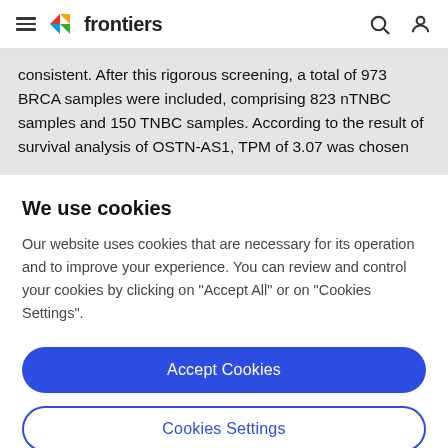frontiers
consistent. After this rigorous screening, a total of 973 BRCA samples were included, comprising 823 nTNBC samples and 150 TNBC samples. According to the result of survival analysis of OSTN-AS1, TPM of 3.07 was chosen
We use cookies
Our website uses cookies that are necessary for its operation and to improve your experience. You can review and control your cookies by clicking on "Accept All" or on "Cookies Settings".
Accept Cookies
Cookies Settings